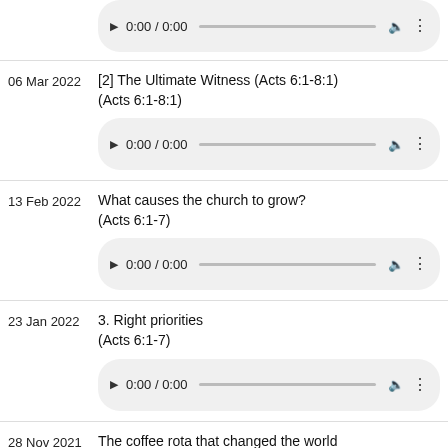06 Mar 2022 — [2] The Ultimate Witness (Acts 6:1-8:1) (Acts 6:1-8:1)
13 Feb 2022 — What causes the church to grow? (Acts 6:1-7)
23 Jan 2022 — 3. Right priorities (Acts 6:1-7)
28 Nov 2021 — The coffee rota that changed the world (Acts 6:1 - Acts 6:7)